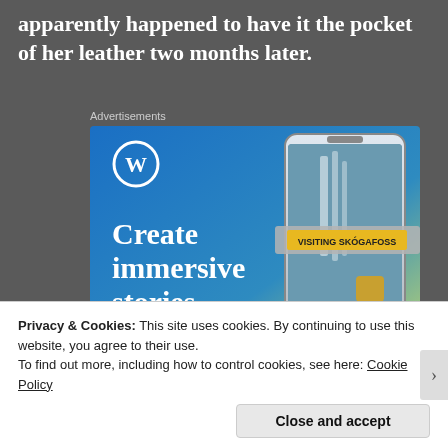apparently happened to have it the pocket of her leather two months later.
Advertisements
[Figure (illustration): WordPress advertisement showing 'Create immersive stories.' with a phone showing 'VISITING SKOGAFOSS' waterfall image on a blue-to-yellow gradient background with WordPress logo]
Privacy & Cookies: This site uses cookies. By continuing to use this website, you agree to their use.
To find out more, including how to control cookies, see here: Cookie Policy
Close and accept